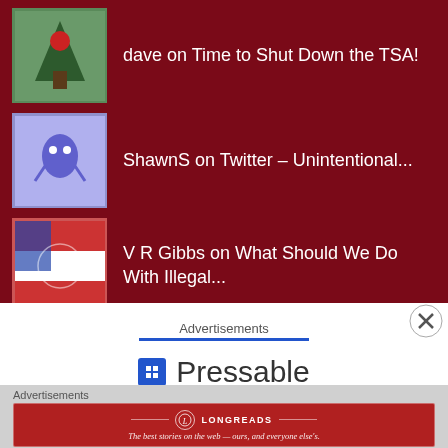dave on Time to Shut Down the TSA!
ShawnS on Twitter – Unintentional...
V R Gibbs on What Should We Do With Illegal...
BBEE on Twitter – Unintentional...
Advertisements
[Figure (logo): Pressable logo with blue icon]
Advertisements
[Figure (infographic): Longreads advertisement banner: The best stories on the web — ours, and everyone else's.]